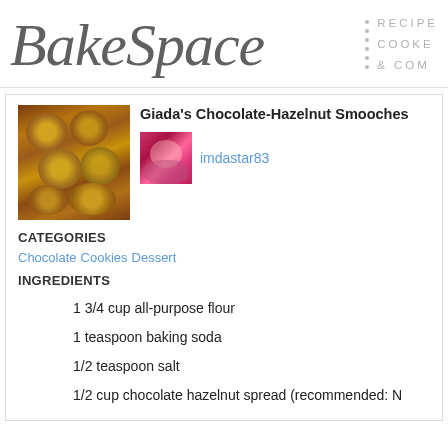BakeSpace | RECIPES COOKING & COMMUNITY
Giada's Chocolate-Hazelnut Smooches
imdastar83
CATEGORIES
Chocolate  Cookies  Dessert
INGREDIENTS
1 3/4 cup all-purpose flour
1 teaspoon baking soda
1/2 teaspoon salt
1/2 cup chocolate hazelnut spread (recommended: N